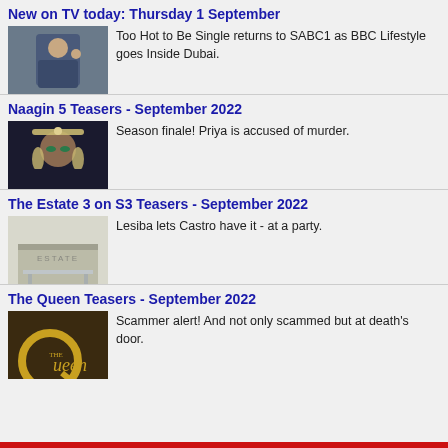New on TV today: Thursday 1 September
[Figure (photo): Man in blue suit making OK gesture]
Too Hot to Be Single returns to SABC1 as BBC Lifestyle goes Inside Dubai.
Naagin 5 Teasers - September 2022
[Figure (photo): Woman with ornate jewelry and dramatic makeup]
Season finale! Priya is accused of murder.
The Estate 3 on S3 Teasers - September 2022
[Figure (photo): Estate building exterior with minimalist architecture]
Lesiba lets Castro have it - at a party.
The Queen Teasers - September 2022
[Figure (photo): The Queen TV show logo with decorative Q]
Scammer alert! And not only scammed but at death's door.